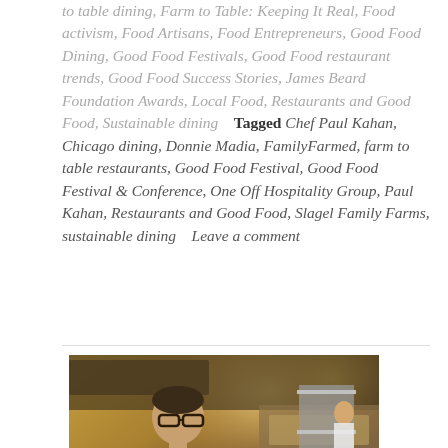to table dining, Farm to Table: Keeping It Real, Food activism, Food Artisans, Food Entrepreneurs, Good Food Dining, Good Food Festivals, Good Food restaurant trends, Good Food Success Stories, James Beard Foundation Awards, Local Food, Restaurants and Good Food, Sustainable dining    Tagged Chef Paul Kahan, Chicago dining, Donnie Madia, FamilyFarmed, farm to table restaurants, Good Food Festival, Good Food Festival & Conference, One Off Hospitality Group, Paul Kahan, Restaurants and Good Food, Slagel Family Farms, sustainable dining    Leave a comment
[Figure (photo): A man in a green jacket standing in a restaurant kitchen, with kitchen equipment and a metal rack visible in the background]